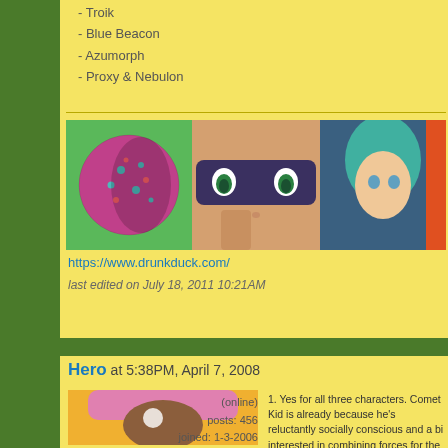- Troik
- Blue Beacon
- Azumorph
- Proxy & Nebulon
[Figure (illustration): Banner image showing three panels: a planet with dots, a masked face close-up, and an anime girl with teal hair]
https://www.drunkduck.com/
last edited on July 18, 2011 10:21AM
Hero at 5:38PM, April 7, 2008
[Figure (illustration): Avatar of a girl with pink hair and skull mask in orange outfit]
(online)
posts: 456
joined: 1-3-2006
1. Yes for all three characters. Comet Kid is already because he's reluctantly socially conscious and a bi interested in combining forces for the good of mank recognize him as his own hero. Blitz is generally alo kick out of saving the day.

2. Again, Comet Kid and Tech do think it's their mora reluctantly so. Blitz is along for the thrill and becaus

3. The group is already a team, they're used to work better at taking orders than the other two, though he not above sarcasm and good natured ribbing. Tech taking orders and is a bit of a control freak, occasio he feels his opinion is not valued. Blitz usually does with complex orders and more prone to believing sh counts on her team to force her in the right direc